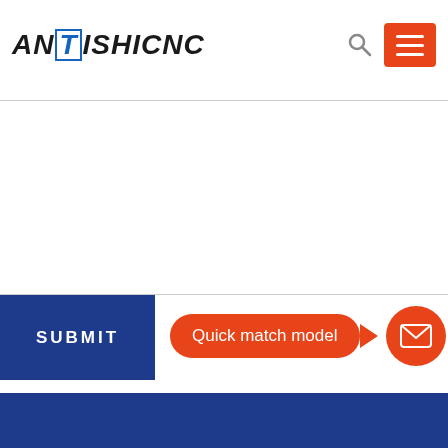[Figure (logo): ANTISHICNC logo in bold italic text with T in a blue box]
[Figure (screenshot): Large empty textarea input with a gray border top and bottom]
SUBMIT
Quick match model
[Figure (illustration): Orange envelope mail icon in a circle]